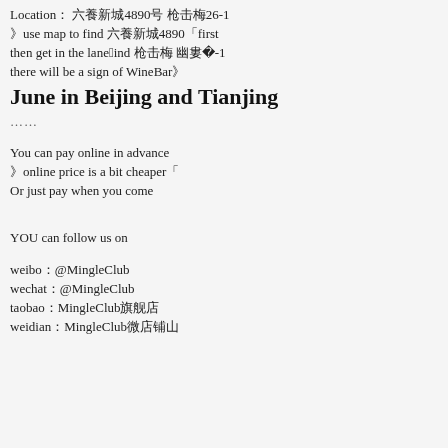Locationï¼ 六養新城4890号 枪击梅26-1
》use map to find 六養新城4890「first
then get in the lane，find 枪击梅 幽婁夃26-1
there will be a sign of WineBar》
June in Beijing and Tianjing
……
You can pay online in advance
》online price is a bit cheaper「
Or just pay when you come
YOU can follow us on
weibo：@MingleClub
wechat：@MingleClub
taobao：MingleClub旗舰店
weidian：MingleClub微店铺山